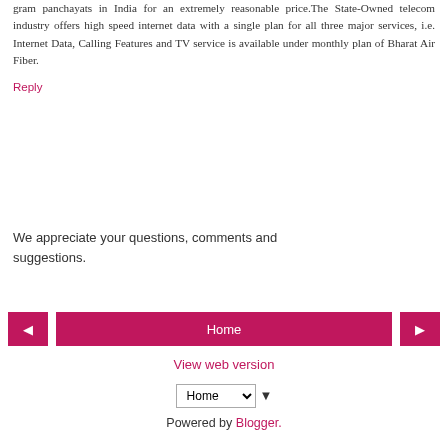gram panchayats in India for an extremely reasonable price. The State-Owned telecom industry offers high speed internet data with a single plan for all three major services, i.e. Internet Data, Calling Features and TV service is available under monthly plan of Bharat Air Fiber.
Reply
We appreciate your questions, comments and suggestions.
Home
View web version
Home ▼
Powered by Blogger.